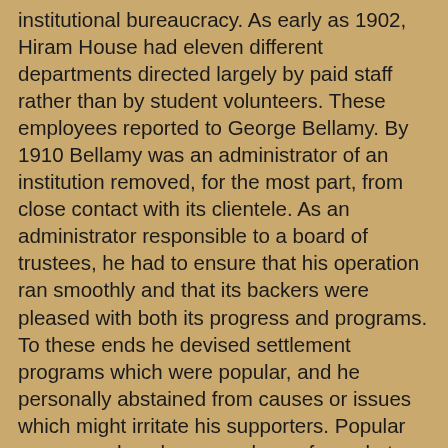institutional bureaucracy. As early as 1902, Hiram House had eleven different departments directed largely by paid staff rather than by student volunteers. These employees reported to George Bellamy. By 1910 Bellamy was an administrator of an institution removed, for the most part, from close contact with its clientele. As an administrator responsible to a board of trustees, he had to ensure that his operation ran smoothly and that its backers were pleased with both its progress and programs. To these ends he devised settlement programs which were popular, and he personally abstained from causes or issues which might irritate his supporters. Popular programs drew large numbers of people to the settlement and thus seemed to prove its worth to its patrons. Therefore, by World War I, Hiram House had come to concentrate on recreational programs which would appeal to the children in the neighborhood. It tended to avoid programs which were educational or which were directed at adult immigrants, as the former would be unpopular and the latter dealt with a clientele which was difficult to attract in large numbers. While Hiram House would come to be characterized as one of the city's most conservative settlement